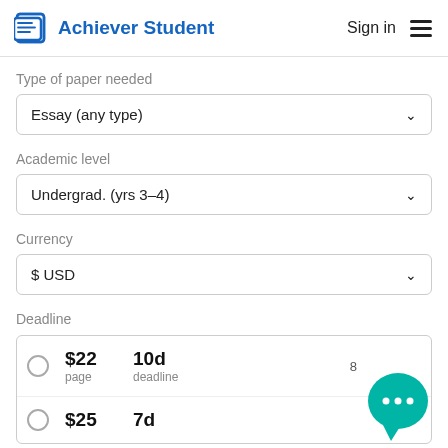Achiever Student  Sign in
Type of paper needed
Essay (any type)
Academic level
Undergrad. (yrs 3–4)
Currency
$ USD
Deadline
|  | Price/page | Deadline | Date |
| --- | --- | --- | --- |
| ○ | $22
page | 10d
deadline | 8 |
| ○ | $25 | 7d | 5 Sep |